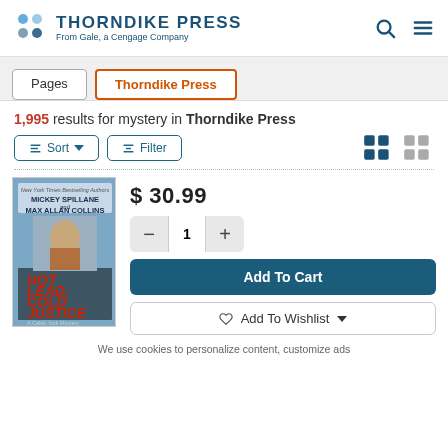THORNDIKE PRESS From Gale, a Cengage Company
Pages
Thorndike Press
1,995 results for mystery in Thorndike Press
[Figure (screenshot): Book cover for Hot Lead Cold Justice by Mickey Spillane and Max Allan Collins]
$ 30.99
1
Add To Cart
Add To Wishlist
We use cookies to personalize content, customize ads